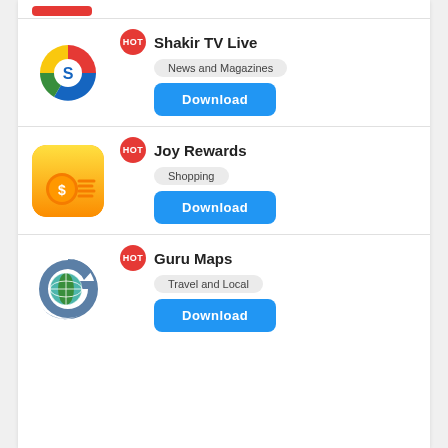Shakir TV Live – News and Magazines – Download
Joy Rewards – Shopping – Download
Guru Maps – Travel and Local – Download